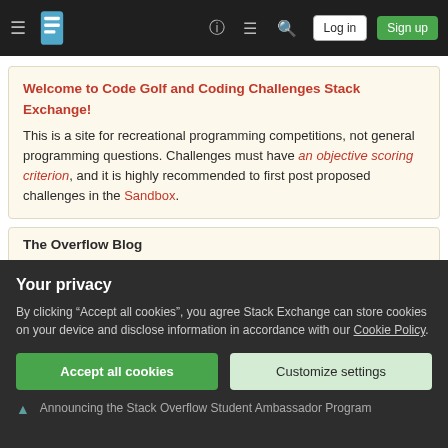Stack Exchange navigation bar with hamburger menu, logo, help, chat, search, Log in and Sign up buttons
Welcome to Code Golf and Coding Challenges Stack Exchange! This is a site for recreational programming competitions, not general programming questions. Challenges must have an objective scoring criterion, and it is highly recommended to first post proposed challenges in the Sandbox.
The Overflow Blog
Stack Overflow is launching a Student Ambassador program. Here’s how to apply.
Your privacy
By clicking “Accept all cookies”, you agree Stack Exchange can store cookies on your device and disclose information in accordance with our Cookie Policy.
Accept all cookies
Customize settings
Announcing the Stack Overflow Student Ambassador Program